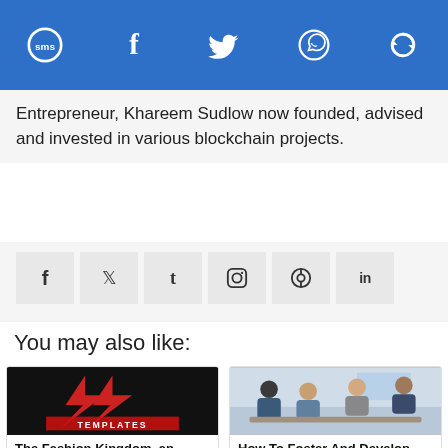Social sharing bar with SMS, Facebook, Twitter, WhatsApp, and refresh icons
Entrepreneur, Khareem Sudlow now founded, advised and invested in various blockchain projects.
[Figure (infographic): Row of social media icon buttons: Facebook, Twitter, Tumblr, Instagram, Pinterest, LinkedIn]
You may also like:
[Figure (photo): The Fashion Kingdom logo — red and white stylized lettering on dark background]
The Fashion Kingdom, an Egyptian fashion e...
[Figure (photo): Group of young professionals in an office meeting/discussion setting]
How To Foster And Develop Civil...